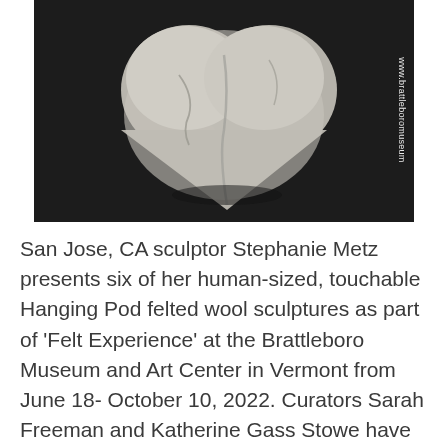[Figure (photo): Black and white photograph of a heart-shaped felted wool sculpture on a dark background. The sculpture is white/light grey, textured, with crease lines forming a heart shape. The website watermark 'www.brattleboromuseum' is printed vertically on the right side in white text.]
San Jose, CA sculptor Stephanie Metz presents six of her human-sized, touchable Hanging Pod felted wool sculptures as part of 'Felt Experience' at the Brattleboro Museum and Art Center in Vermont from June 18- October 10, 2022. Curators Sarah Freeman and Katherine Gass Stowe have assembled five artists working in felt today